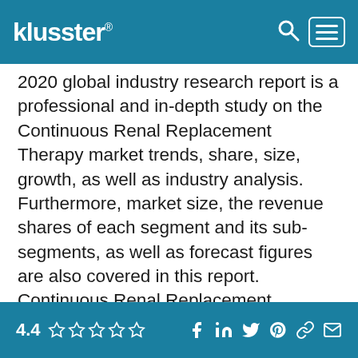klusster®
2020 global industry research report is a professional and in-depth study on the Continuous Renal Replacement Therapy market trends, share, size, growth, as well as industry analysis. Furthermore, market size, the revenue shares of each segment and its sub-segments, as well as forecast figures are also covered in this report. Continuous Renal Replacement Therapy Market Forecast 2025 report study provides key statistics on the market status of the Continuous Renal Replacement Therapy manufacturers and is a valuable source of guidance and direction for companies and individuals interested in the industry.
4.4 ★★★★★ [social icons]